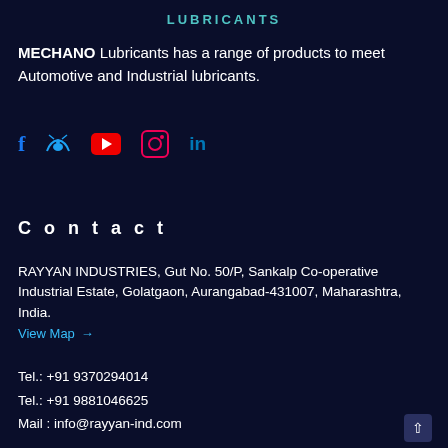LUBRICANTS
MECHANO Lubricants has a range of products to meet Automotive and Industrial lubricants.
[Figure (infographic): Social media icons: Facebook (f), Twitter (bird), YouTube (red play button), Instagram (camera icon), LinkedIn (in)]
Contact
RAYYAN INDUSTRIES, Gut No. 50/P, Sankalp Co-operative Industrial Estate, Golatgaon, Aurangabad-431007, Maharashtra, India.
View Map →
Tel.: +91 9370294014
Tel.: +91 9881046625
Mail : info@rayyan-ind.com